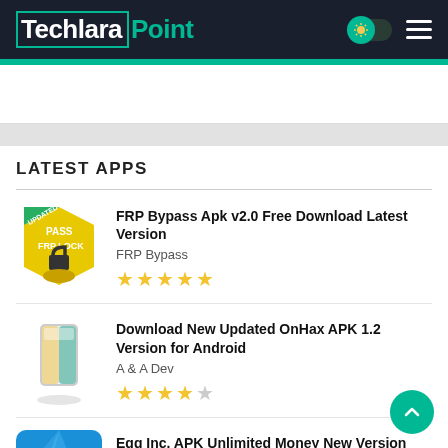Techlara Point
LATEST APPS
FRP Bypass Apk v2.0 Free Download Latest Version
FRP Bypass
★★★★★
Download New Updated OnHax APK 1.2 Version for Android
A & A Dev
★★★★½
Egg Inc. APK Unlimited Money New Version free Download
Auxbrain Inc.